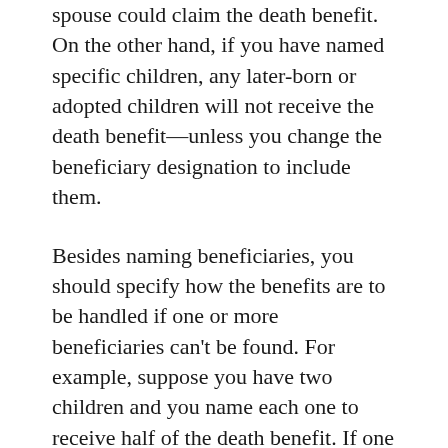spouse could claim the death benefit. On the other hand, if you have named specific children, any later-born or adopted children will not receive the death benefit—unless you change the beneficiary designation to include them.
Besides naming beneficiaries, you should specify how the benefits are to be handled if one or more beneficiaries can't be found. For example, suppose you have two children and you name each one to receive half of the death benefit. If one of the children dies before you do, do you want the other child to get the entire death benefit, or the deceased child's heirs to get his or her share?
If the death benefit goes to your estate, probate